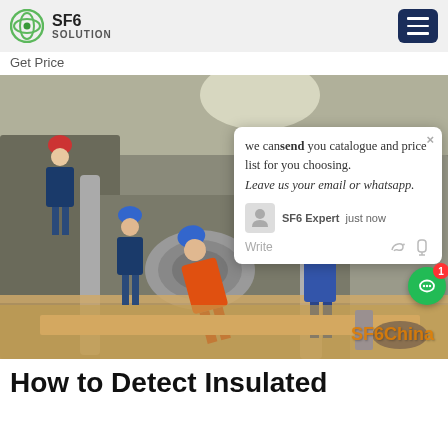SF6 SOLUTION
Get Price
[Figure (photo): Workers in hard hats and protective gear working on large industrial SF6 electrical equipment inside a facility. Workers wear orange and blue coveralls. SF6China watermark visible at bottom right. A chat popup overlay shows a message: 'we can send you catalogue and price list for you choosing. Leave us your email or whatsapp.' with SF6 Expert just now, and a Write field.]
How to Detect Insulated